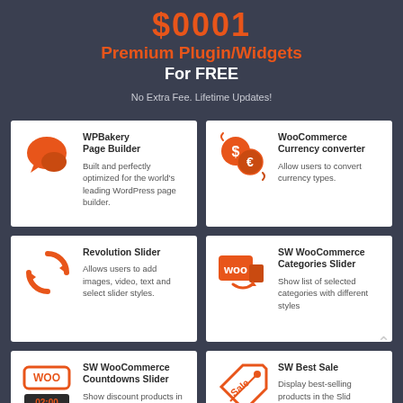$0001 Premium Plugin/Widgets For FREE
No Extra Fee. Lifetime Updates!
[Figure (infographic): WPBakery Page Builder plugin card with orange chat bubble icon. Built and perfectly optimized for the world's leading WordPress page builder.]
[Figure (infographic): WooCommerce Currency Converter plugin card with orange dollar/euro icon. Allow users to convert currency types.]
[Figure (infographic): Revolution Slider plugin card with orange circular arrows icon. Allows users to add images, video, text and select slider styles.]
[Figure (infographic): SW WooCommerce Categories Slider plugin card with orange WooCommerce icon. Show list of selected categories with different styles.]
[Figure (infographic): SW WooCommerce Countdowns Slider plugin card with orange WOO countdown timer icon. Show discount products in the slider with countdown box.]
[Figure (infographic): SW Best Sale plugin card with orange sale tag icon. Display best-selling products in the Slid.]